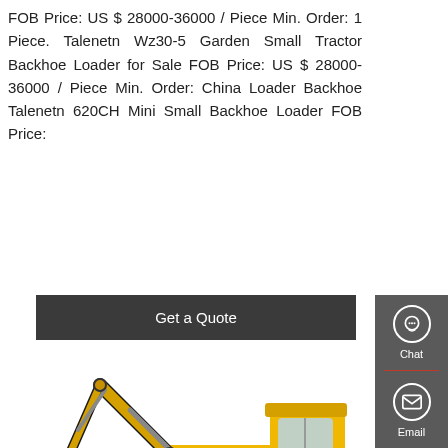FOB Price: US $ 28000-36000 / Piece Min. Order: 1 Piece. Talenetn Wz30-5 Garden Small Tractor Backhoe Loader for Sale FOB Price: US $ 28000-36000 / Piece Min. Order: China Loader Backhoe Talenetn 620CH Mini Small Backhoe Loader FOB Price:
[Figure (other): Button: Get a Quote (dark gray background, white text)]
[Figure (photo): Yellow LiuGong excavator/backhoe loader on white background]
[Figure (infographic): Sidebar with Chat, Email, Contact icons on dark gray background]